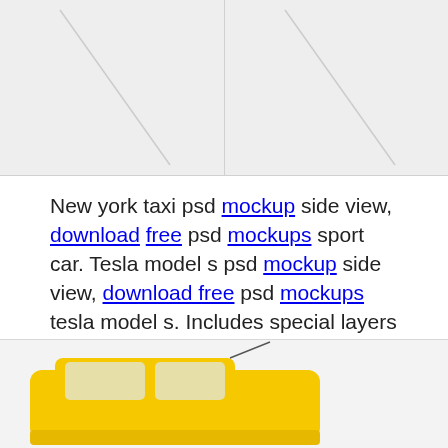[Figure (photo): Two image placeholders side by side at the top of the page showing diagonal lines on gray backgrounds]
New york taxi psd mockup side view, download free psd mockups sport car. Tesla model s psd mockup side view, download free psd mockups tesla model s. Includes special layers and smart object for your artworks. Free vespa scooter psd mockup left side view , download free psd mockups vespa.
[Figure (photo): Partial image of a yellow taxi/vehicle visible at the bottom of the page]